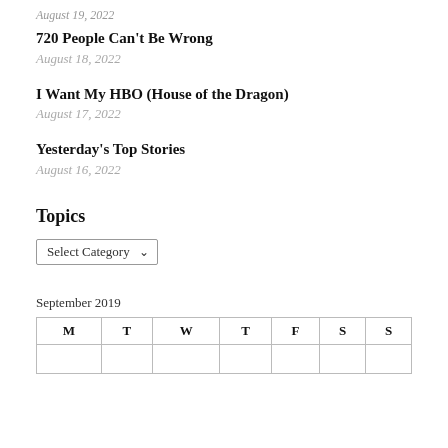720 People Can't Be Wrong
August 18, 2022
I Want My HBO (House of the Dragon)
August 17, 2022
Yesterday's Top Stories
August 16, 2022
Topics
Select Category
September 2019
| M | T | W | T | F | S | S |
| --- | --- | --- | --- | --- | --- | --- |
|  |  |  |  |  |  |  |